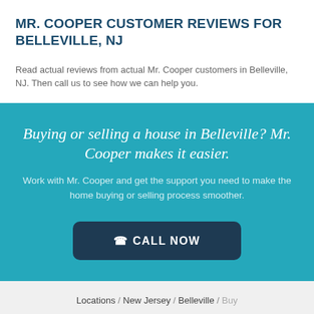MR. COOPER CUSTOMER REVIEWS FOR BELLEVILLE, NJ
Read actual reviews from actual Mr. Cooper customers in Belleville, NJ. Then call us to see how we can help you.
Buying or selling a house in Belleville? Mr. Cooper makes it easier.
Work with Mr. Cooper and get the support you need to make the home buying or selling process smoother.
CALL NOW
Locations / New Jersey / Belleville / Buy